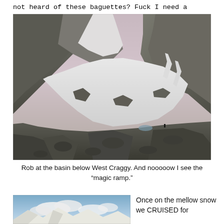not heard of these baguettes? Fuck I need a sandwich.
[Figure (photo): Mountain basin below West Craggy showing steep rocky cliffs, snow fields filling the bowl, and a small figure visible in the rocky foreground near a tarn. The sky is overcast pale grey-pink.]
Rob at the basin below West Craggy. And nooooow I see the “magic ramp.”
[Figure (photo): Partial photo at bottom left showing snowy mountains with blue sky and clouds.]
Once on the mellow snow we CRUISED for